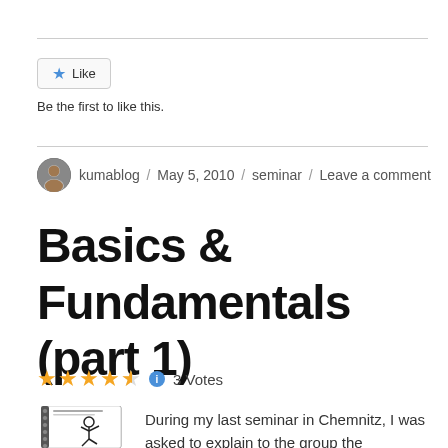Like  Be the first to like this.
kumablog / May 5, 2010 / seminar / Leave a comment
Basics & Fundamentals (part 1)
3 Votes
During my last seminar in Chemnitz, I was asked to explain to the group the